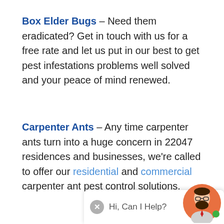Box Elder Bugs – Need them eradicated? Get in touch with us for a free rate and let us put in our best to get pest infestations problems well solved and your peace of mind renewed.
Carpenter Ants – Any time carpenter ants turn into a huge concern in 22047 residences and businesses, we're called to offer our residential and commercial carpenter ant pest control solutions.
Carpenter Bees – We're [partially obscured] in 22047 for a reason: they will cease to exist by the time we're through with them.